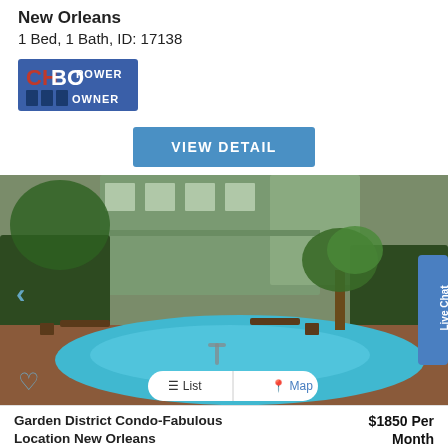New Orleans
1 Bed, 1 Bath, ID: 17138
[Figure (logo): CHBO Power Owner badge logo in red and blue]
VIEW DETAIL
[Figure (photo): Outdoor pool at a Garden District condo in New Orleans, surrounded by brick pavers, benches, and lush greenery with a multi-story green building in the background]
Garden District Condo-Fabulous Location New Orleans
$1850 Per Month